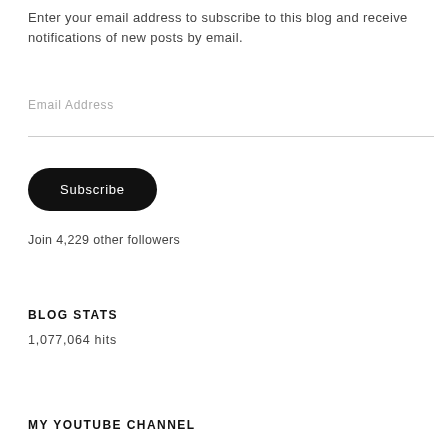Enter your email address to subscribe to this blog and receive notifications of new posts by email.
Email Address
Subscribe
Join 4,229 other followers
BLOG STATS
1,077,064 hits
MY YOUTUBE CHANNEL